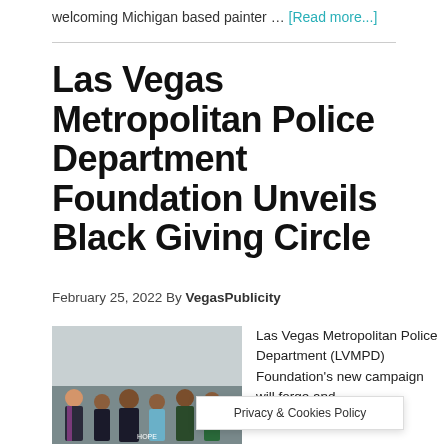welcoming Michigan based painter … [Read more...]
Las Vegas Metropolitan Police Department Foundation Unveils Black Giving Circle
February 25, 2022 By VegasPublicity
[Figure (photo): Group photo of several people standing together indoors]
Las Vegas Metropolitan Police Department (LVMPD) Foundation's new campaign will forge and …onships
Privacy & Cookies Policy